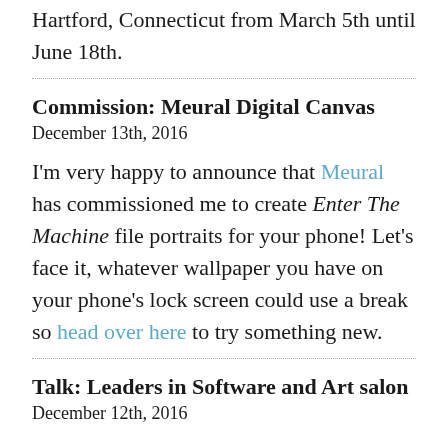Hartford, Connecticut from March 5th until June 18th.
Commission: Meural Digital Canvas
December 13th, 2016
I'm very happy to announce that Meural has commissioned me to create Enter The Machine file portraits for your phone! Let's face it, whatever wallpaper you have on your phone's lock screen could use a break so head over here to try something new.
Talk: Leaders in Software and Art salon
December 12th, 2016